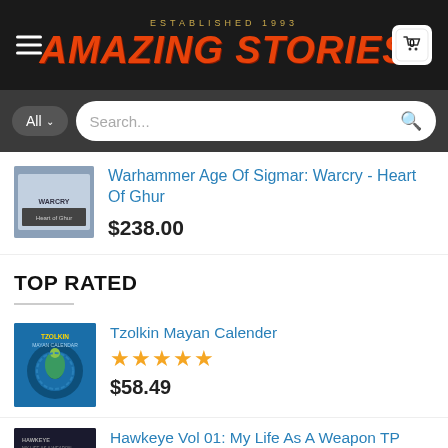[Figure (screenshot): Amazing Stories store header with hamburger menu, logo (ESTABLISHED 1993 / AMAZING STORIES), and cart icon showing 0]
[Figure (screenshot): Search bar with All dropdown and Search... placeholder text]
Warhammer Age Of Sigmar: Warcry - Heart Of Ghur
$238.00
TOP RATED
Tzolkin Mayan Calender
$58.49
Hawkeye Vol 01: My Life As A Weapon TP
$18.99  $15.19